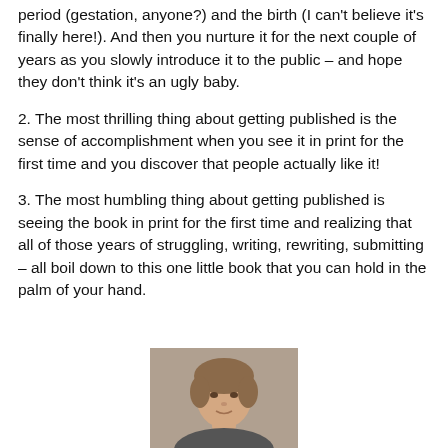period (gestation, anyone?) and the birth (I can't believe it's finally here!). And then you nurture it for the next couple of years as you slowly introduce it to the public – and hope they don't think it's an ugly baby.
2. The most thrilling thing about getting published is the sense of accomplishment when you see it in print for the first time and you discover that people actually like it!
3. The most humbling thing about getting published is seeing the book in print for the first time and realizing that all of those years of struggling, writing, rewriting, submitting – all boil down to this one little book that you can hold in the palm of your hand.
[Figure (photo): Headshot photograph of a middle-aged woman with short brown hair, looking at the camera.]